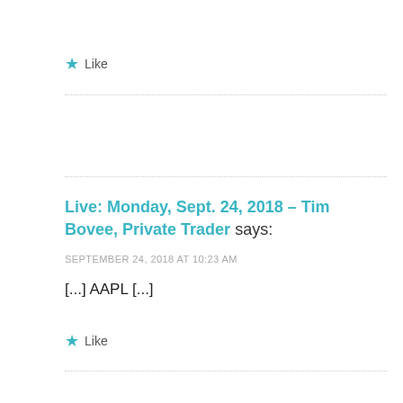★ Like
Live: Monday, Sept. 24, 2018 – Tim Bovee, Private Trader says:
SEPTEMBER 24, 2018 AT 10:23 AM
[...] AAPL [...]
★ Like